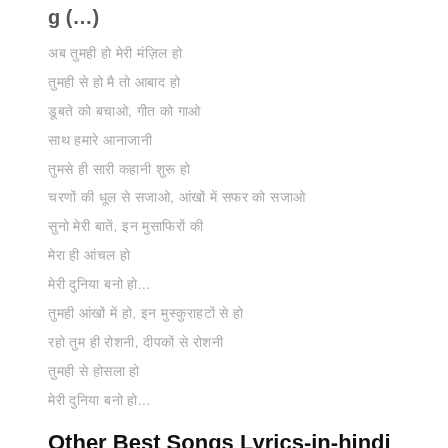g (…)
Hindi lyric line 1
Hindi lyric line 2
Hindi lyric line 3
Hindi lyric line 4
Hindi lyric line 5
Hindi lyric line 6
Hindi lyric line 7
Hindi lyric line 8
Hindi lyric line 9
Hindi lyric line 10
Hindi lyric line 11
Hindi lyric line 12
Hindi lyric line 13
Hindi lyric line 14
Other Best Songs Lyrics-in-hindi Collections